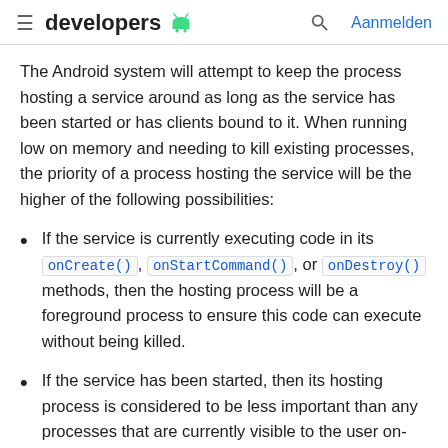developers [android logo] | [search icon] Aanmelden
The Android system will attempt to keep the process hosting a service around as long as the service has been started or has clients bound to it. When running low on memory and needing to kill existing processes, the priority of a process hosting the service will be the higher of the following possibilities:
If the service is currently executing code in its onCreate(), onStartCommand(), or onDestroy() methods, then the hosting process will be a foreground process to ensure this code can execute without being killed.
If the service has been started, then its hosting process is considered to be less important than any processes that are currently visible to the user on-screen, but more important than any process not visible. Because only a few processes are generally